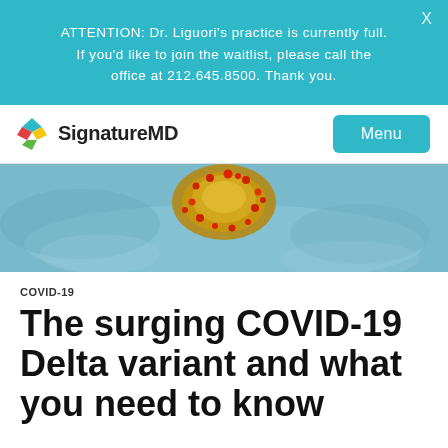ATTENTION: Dr. Liguori's practice is currently full. If you'd like to join the waitlist, please call the office at 212.645.8500. Thank you.
[Figure (logo): SignatureMD logo with layered colored diamond shapes and text 'SignatureMD']
[Figure (photo): Close-up microscope image of COVID-19 coronavirus particle with red spike proteins on a blue background]
COVID-19
The surging COVID-19 Delta variant and what you need to know